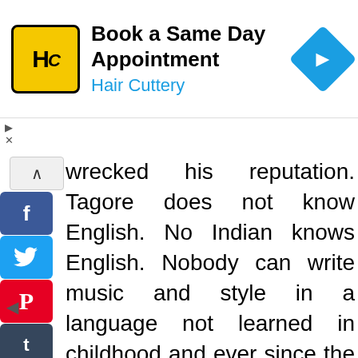[Figure (screenshot): Advertisement banner for Hair Cuttery with logo, text 'Book a Same Day Appointment', 'Hair Cuttery', and a blue diamond arrow icon.]
wrecked his reputation. Tagore does not know English. No Indian knows English. Nobody can write music and style in a language not learned in childhood and ever since the language of his thought.” Perhaps Yeats was right. Madhusudan Dutta wrote in English and Bengali. Today his writings in English are hardly known but his writings in Bengali survive. One wonders whether